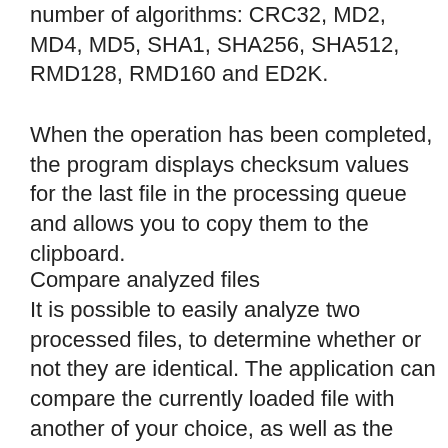number of algorithms: CRC32, MD2, MD4, MD5, SHA1, SHA256, SHA512, RMD128, RMD160 and ED2K.
When the operation has been completed, the program displays checksum values for the last file in the processing queue and allows you to copy them to the clipboard.
Compare analyzed files
It is possible to easily analyze two processed files, to determine whether or not they are identical. The application can compare the currently loaded file with another of your choice, as well as the next two files in the processing queue. Hasher Lite then informs you whether or not the contents of the two files match and which of the analyzed checksums are different.
Export file information
It is possible to export the information gathered about the currently opened file